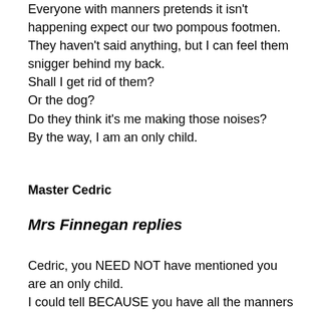Everyone with manners pretends it isn't happening expect our two pompous footmen. They haven't said anything, but I can feel them snigger behind my back. Shall I get rid of them? Or the dog? Do they think it's me making those noises? By the way, I am an only child.
Master Cedric
Mrs Finnegan replies
Cedric, you NEED NOT have mentioned you are an only child. I could tell BECAUSE you have all the manners and CHARM of a young man who is the sole heir to a considerable fortune.